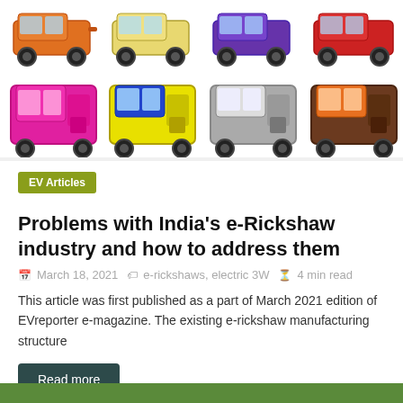[Figure (illustration): Grid of colorful e-rickshaw illustrations in two rows: top row shows side views in orange, yellow, purple, and red; bottom row shows interior views in pink/magenta, yellow/blue, grey, and brown/orange]
EV Articles
Problems with India's e-Rickshaw industry and how to address them
March 18, 2021  e-rickshaws, electric 3W  4 min read
This article was first published as a part of March 2021 edition of EVreporter e-magazine. The existing e-rickshaw manufacturing structure
Read more